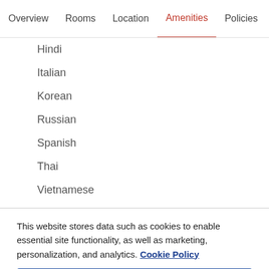Overview  Rooms  Location  Amenities  Policies  Reviews
Hindi
Italian
Korean
Russian
Spanish
Thai
Vietnamese
This website stores data such as cookies to enable essential site functionality, as well as marketing, personalization, and analytics. Cookie Policy
Accept
Deny